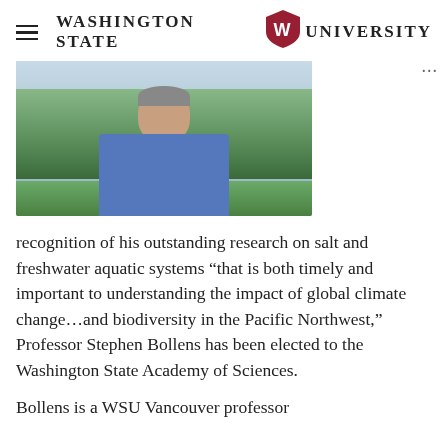Washington State University
[Figure (photo): Headshot photo of Professor Stephen Bollens in a blue shirt, standing outdoors with trees and greenery in the background.]
recognition of his outstanding research on salt and freshwater aquatic systems “that is both timely and important to understanding the impact of global climate change…and biodiversity in the Pacific Northwest,”  Professor Stephen Bollens has been elected to the Washington State Academy of Sciences.
Bollens is a WSU Vancouver professor